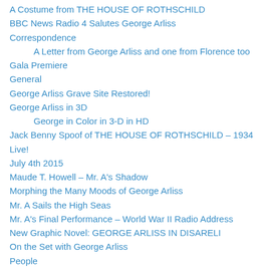A Costume from THE HOUSE OF ROTHSCHILD
BBC News Radio 4 Salutes George Arliss
Correspondence
A Letter from George Arliss and one from Florence too
Gala Premiere
General
George Arliss Grave Site Restored!
George Arliss in 3D
George in Color in 3-D in HD
Jack Benny Spoof of THE HOUSE OF ROTHSCHILD – 1934 Live!
July 4th 2015
Maude T. Howell – Mr. A's Shadow
Morphing the Many Moods of George Arliss
Mr. A Sails the High Seas
Mr. A's Final Performance – World War II Radio Address
New Graphic Novel: GEORGE ARLISS IN DISARELI
On the Set with George Arliss
People
Production Photos
Radio